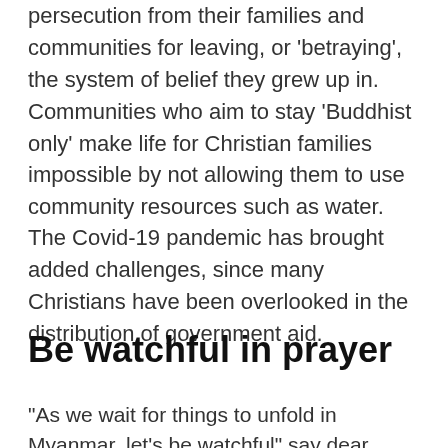persecution from their families and communities for leaving, or 'betraying', the system of belief they grew up in. Communities who aim to stay 'Buddhist only' make life for Christian families impossible by not allowing them to use community resources such as water.
The Covid-19 pandemic has brought added challenges, since many Christians have been overlooked in the distribution of government aid.
Be watchful in prayer
"As we wait for things to unfold in Myanmar, let's be watchful" says dear Myanmar. "Pray for God's...